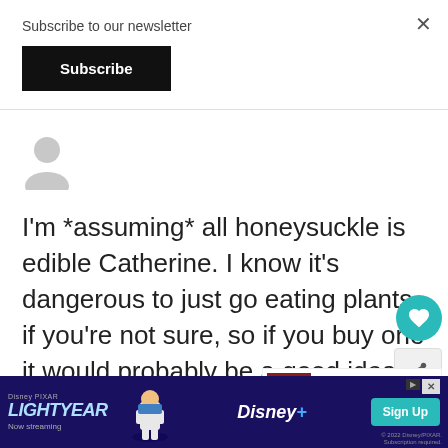Subscribe to our newsletter
Subscribe
[Figure (illustration): Generic user avatar silhouette in grey]
I'm *assuming* all honeysuckle is edible Catherine. I know it's dangerous to just go eating plants if you're not sure, so if you buy one it would probably be a good idea to run the botanical name through your extension agent for verification. But I don't think the color of the honeysuckle blossom makes a difference...
[Figure (screenshot): What's Next widget showing 'How To Make Clover-...' with flower image]
[Figure (screenshot): Disney Pixar Lightyear ad banner - Now streaming on Disney+, with Sign Up button]